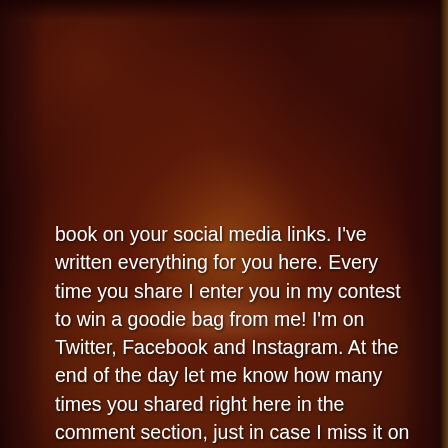[Figure (photo): Dark reddish-brown dramatic sky background with clouds, dark vignette borders on left and right sides, warm orange-brown cloud reflection in the lower portion]
book on your social media links. I've written everything for you here. Every time you share I enter you in my contest to win a goodie bag from me! I'm on Twitter, Facebook and Instagram. At the end of the day let me know how many times you shared right here in the comment section, just in case I miss it on those sites.